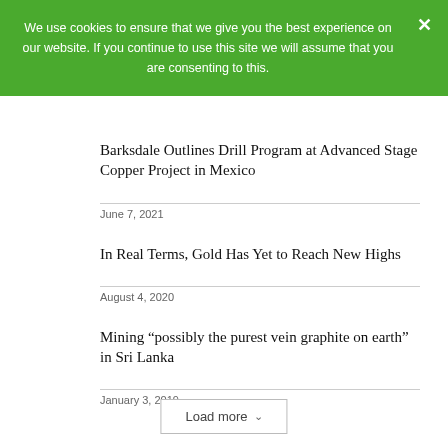We use cookies to ensure that we give you the best experience on our website. If you continue to use this site we will assume that you are consenting to this.
Barksdale Outlines Drill Program at Advanced Stage Copper Project in Mexico
June 7, 2021
In Real Terms, Gold Has Yet to Reach New Highs
August 4, 2020
Mining “possibly the purest vein graphite on earth” in Sri Lanka
January 3, 2019
Load more